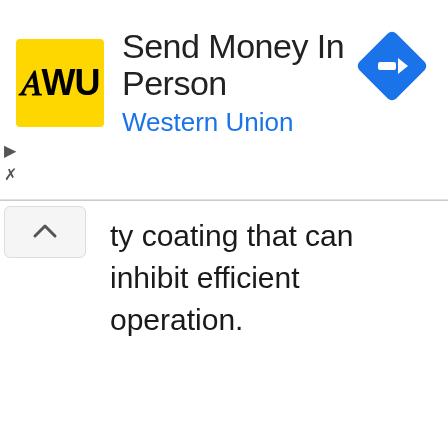[Figure (screenshot): Western Union advertisement banner with yellow WU logo, title 'Send Money In Person', subtitle 'Western Union' in blue, and a blue diamond navigation icon on the right. Ad controls (play and close buttons) appear on the left edge.]
ty coating that can inhibit efficient operation.